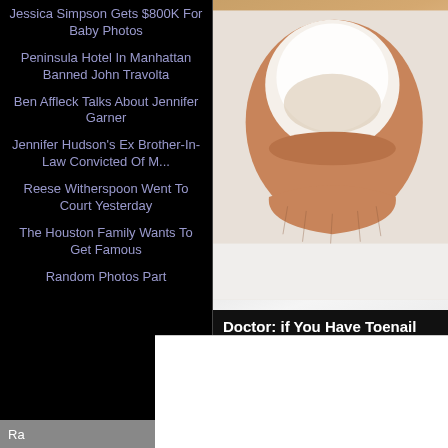Jessica Simpson Gets $800K For Baby Photos
Peninsula Hotel In Manhattan Banned John Travolta
Ben Affleck Talks About Jennifer Garner
Jennifer Hudson's Ex Brother-In-Law Convicted Of M...
Reese Witherspoon Went To Court Yesterday
The Houston Family Wants To Get Famous
Random Photos Part
[Figure (illustration): Close-up illustration of a toenail with fungal infection, showing thickened discolored nail on a toe with skin texture]
Doctor: if You Have Toenail Fungu...
Health Benefits
[Figure (photo): Blurred aqua/teal colored background image, partially visible]
Ra...